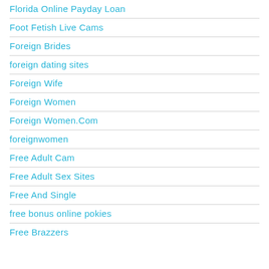Florida Online Payday Loan
Foot Fetish Live Cams
Foreign Brides
foreign dating sites
Foreign Wife
Foreign Women
Foreign Women.Com
foreignwomen
Free Adult Cam
Free Adult Sex Sites
Free And Single
free bonus online pokies
Free Brazzers